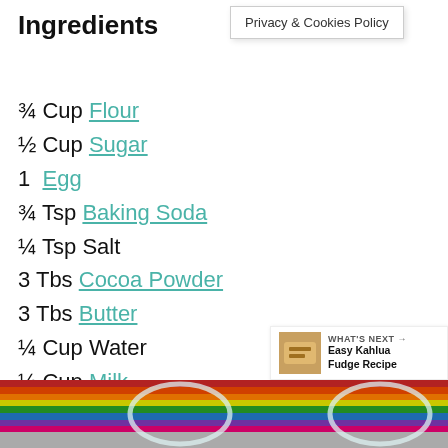Ingredients
Privacy & Cookies Policy
¾ Cup Flour
½ Cup Sugar
1 Egg
¾ Tsp Baking Soda
¼ Tsp Salt
3 Tbs Cocoa Powder
3 Tbs Butter
¼ Cup Water
¼ Cup Milk
½ Tsp Vanilla Extract
½ Tsp Lemon Juice
[Figure (photo): Photo of colorful striped background with glass bowls]
WHAT'S NEXT → Easy Kahlua Fudge Recipe